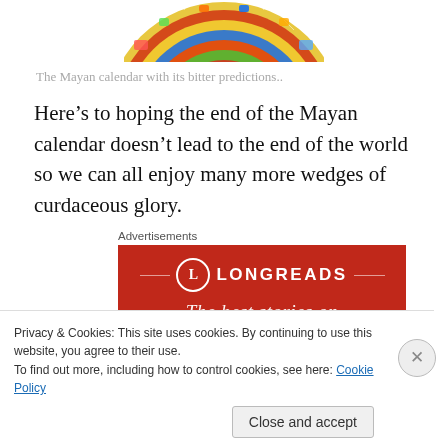[Figure (illustration): Top portion of a colorful decorative Mayan calendar plate/disc, partially cropped at top]
The Mayan calendar with its bitter predictions..
Here’s to hoping the end of the Mayan calendar doesn’t lead to the end of the world so we can all enjoy many more wedges of curdaceous glory.
[Figure (screenshot): Advertisement banner for Longreads (longreads.com) with red background, Longreads logo (circle with L), and partial text 'The best stories on']
Privacy & Cookies: This site uses cookies. By continuing to use this website, you agree to their use.
To find out more, including how to control cookies, see here: Cookie Policy